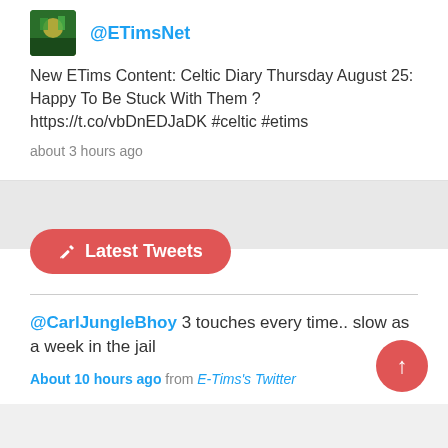@ETimsNet
New ETims Content: Celtic Diary Thursday August 25: Happy To Be Stuck With Them ? https://t.co/vbDnEDJaDK #celtic #etims
about 3 hours ago
Latest Tweets
@CarlJungleBhoy 3 touches every time.. slow as a week in the jail
About 10 hours ago from E-Tims's Twitter